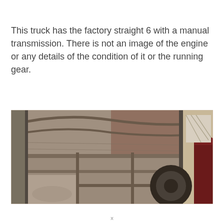This truck has the factory straight 6 with a manual transmission. There is not an image of the engine or any details of the condition of it or the running gear.
[Figure (photo): Interior view of an old truck showing the bare metal cargo area ceiling/roof structure with wooden cross beams, rusted metal panels, a spare tire visible on the right side, and a dark red/maroon seat partially visible on the far right.]
x